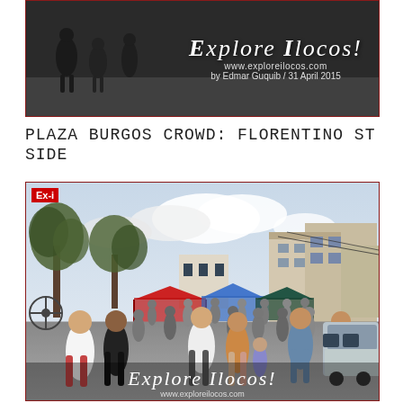[Figure (photo): Dark-toned banner/header photo showing people walking on a street, with 'Explore Ilocos!' text overlay, website www.exploreilocos.com, and byline 'by Edmar Guquib / 31 April 2015']
PLAZA BURGOS CROWD: FLORENTINO ST SIDE
[Figure (photo): Outdoor crowd scene at Plaza Burgos, Florentino Street side. Large crowd of people walking on a closed street lined with vendor tents (red, blue), trees, and buildings on the right side. Sky with clouds visible. 'Ex-i' label in red box top-left. 'Explore Ilocos!' watermark at bottom with www.exploreilocos.com]